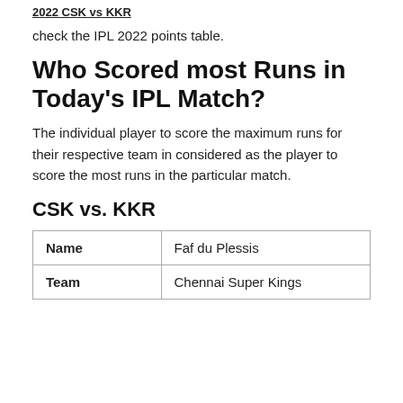2022 CSK vs KKR
check the IPL 2022 points table.
Who Scored most Runs in Today's IPL Match?
The individual player to score the maximum runs for their respective team in considered as the player to score the most runs in the particular match.
CSK vs. KKR
| Name |  |
| --- | --- |
| Name | Faf du Plessis |
| Team | Chennai Super Kings |